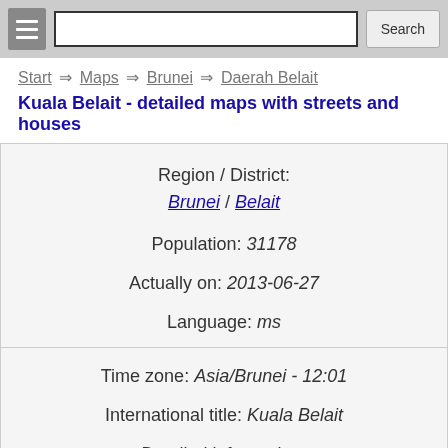Search
Start ⇒ Maps ⇒ Brunei ⇒ Daerah Belait
Kuala Belait - detailed maps with streets and houses
Region / District: Brunei / Belait
Population: 31178
Actually on: 2013-06-27
Language: ms
Time zone: Asia/Brunei - 12:01
International title: Kuala Belait
Detailed information: